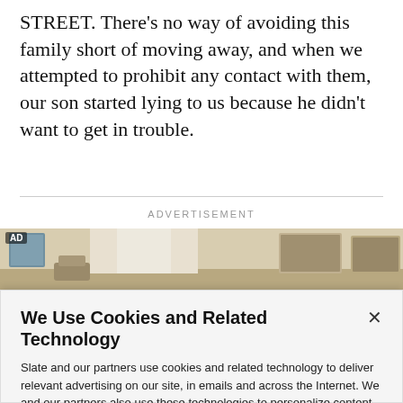STREET. There’s no way of avoiding this family short of moving away, and when we attempted to prohibit any contact with them, our son started lying to us because he didn’t want to get in trouble.
ADVERTISEMENT
[Figure (photo): Advertisement image showing an interior room scene with AD badge in top-left corner]
We Use Cookies and Related Technology
Slate and our partners use cookies and related technology to deliver relevant advertising on our site, in emails and across the Internet. We and our partners also use these technologies to personalize content and perform site analytics. For more information, see our terms and privacy policy. Privacy Policy
OK